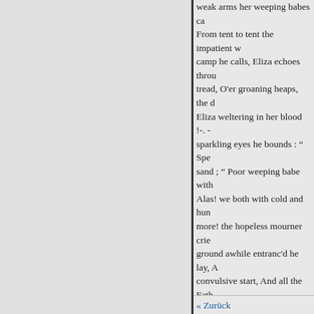weak arms her weeping babes ca...
From tent to tent the impatient w...
camp he calls, Eliza echoes throu...
tread, O'er groaning heaps, the d...
Eliza weltering in her blood !-. -...
sparkling eyes he bounds : “ Spe...
sand ; “ Poor weeping babe with...
Alas! we both with cold and hun...
more! the hopeless mourner crie...
ground awhile entranc'd he lay, A...
convulsive start, And all the Fath...
forgive ! “ These bind to earth, f...
And clasp'd them sobbing to his ...
THE MORALIZER CORREC...
A TALE.
A Hermit (or if chance you...
That title now too trite and...
A man, once young, who li...
As Hermit could have well...
« Zurück